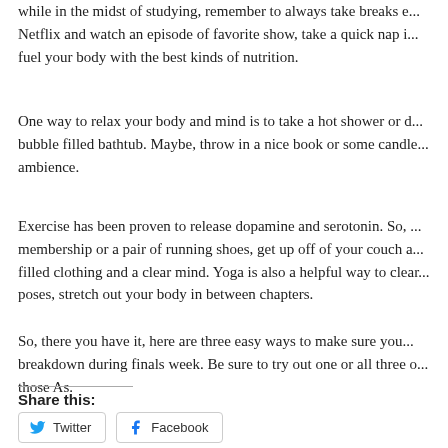while in the midst of studying, remember to always take breaks e... Netflix and watch an episode of favorite show, take a quick nap i... fuel your body with the best kinds of nutrition.
One way to relax your body and mind is to take a hot shower or d... bubble filled bathtub. Maybe, throw in a nice book or some candle... ambience.
Exercise has been proven to release dopamine and serotonin. So, ... membership or a pair of running shoes, get up off of your couch a... filled clothing and a clear mind. Yoga is also a helpful way to clear... poses, stretch out your body in between chapters.
So, there you have it, here are three easy ways to make sure you... breakdown during finals week. Be sure to try out one or all three o... those As.
Share this:
Twitter   Facebook